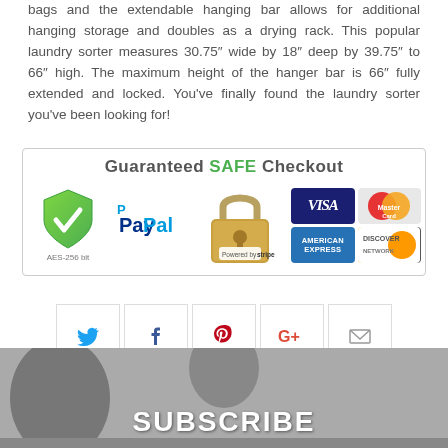bags and the extendable hanging bar allows for additional hanging storage and doubles as a drying rack. This popular laundry sorter measures 30.75″ wide by 18″ deep by 39.75″ to 66″ high. The maximum height of the hanger bar is 66″ fully extended and locked. You’ve finally found the laundry sorter you’ve been looking for!
[Figure (infographic): Guaranteed SAFE Checkout banner with payment icons: shield (AES-256 bit), PayPal, padlock (Powered by stripe, secure site), VISA, MasterCard, American Express, Discover Network]
[Figure (infographic): Social sharing buttons: Twitter, Facebook, Pinterest, Google+, Email]
[Figure (photo): Subscribe banner with person's head visible and SUBSCRIBE text overlay]